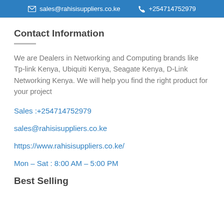✉ sales@rahisisuppliers.co.ke   📞 +254714752979
Contact Information
We are Dealers in Networking and Computing brands like Tp-link Kenya, Ubiquiti Kenya, Seagate Kenya, D-Link Networking Kenya. We will help you find the right product for your project
Sales :+254714752979
sales@rahisisuppliers.co.ke
https://www.rahisisuppliers.co.ke/
Mon – Sat : 8:00 AM – 5:00 PM
Best Selling